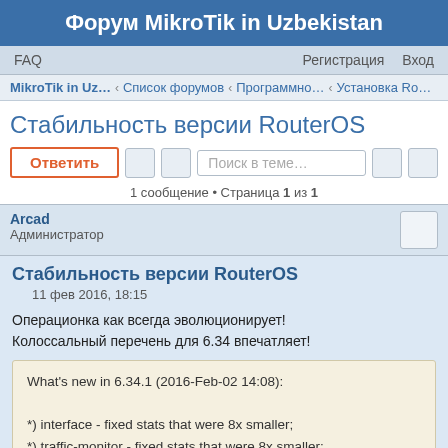Форум MikroTik in Uzbekistan
FAQ    Регистрация    Вход
MikroTik in Uz… ‹ Список форумов ‹ Программно… ‹ Установка Ro…
Стабильность версии RouterOS
Ответить    Поиск в теме…
1 сообщение • Страница 1 из 1
Arcad
Администратор
Стабильность версии RouterOS
11 фев 2016, 18:15
Операционка как всегда эволюционирует!
Колоссальный перечень для 6.34 впечатляет!
What's new in 6.34.1 (2016-Feb-02 14:08):

*) interface - fixed stats that were 8x smaller;
*) traffic-monitor - fixed stats that were 8x smaller;